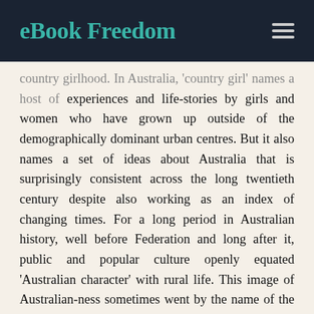eBook Freedom
country girlhood. In Australia, 'country girl' names a host of experiences and life-stories by girls and women who have grown up outside of the demographically dominant urban centres. But it also names a set of ideas about Australia that is surprisingly consistent across the long twentieth century despite also working as an index of changing times. For a long period in Australian history, well before Federation and long after it, public and popular culture openly equated 'Australian character' with rural life. This image of Australian-ness sometimes went by the name of the 'bush man', now a staple of Australian history. This has been counterbalanced post World War II and increased immigration, by an image of sophisticated Australian modernity located in multicultural cities. These images of Australia balance rather than contradict one another in many ways and the more cosmopolitan image of Australia is often in dialogue with that preceding image of 'the bush'. This book does not offer a corrective to the story of Australian national identity but rather a fresh perspective on this history and a new focus on the ever-changing experience of Australian rural life. It argues that the